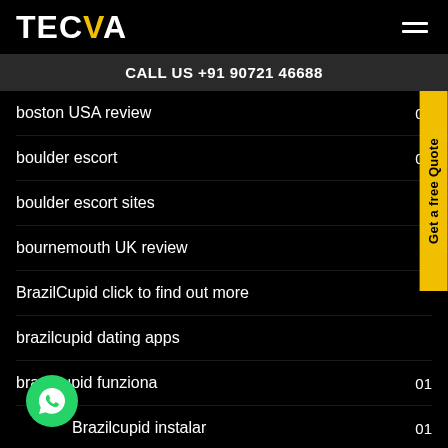TECVA
CALL US +91 90721 46688
boston USA review  01
boulder escort  01
boulder escort sites  01
bournemouth UK review
BrazilCupid click to find out more
brazilcupid dating apps
brazilcupid funziona  01
Brazilcupid instalar  01
brazilcupid preise  01